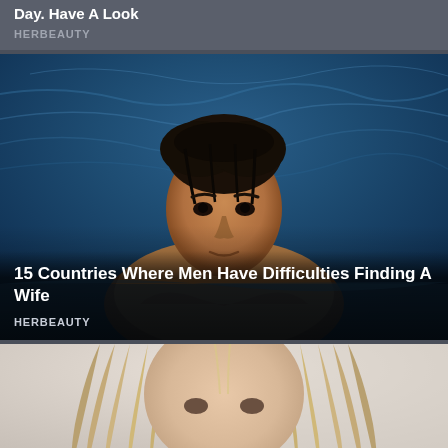Day. Have A Look
HERBEAUTY
[Figure (photo): Shirtless athletic man with dark wet hair resting at the edge of a pool with blue water in the background]
15 Countries Where Men Have Difficulties Finding A Wife
HERBEAUTY
[Figure (photo): Woman with long straight blonde-brown hair, partial face visible, light background]